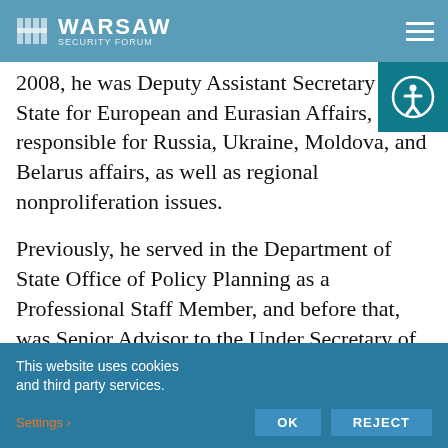Warsaw Security Forum – navigation bar with logo and hamburger menu
2008, he was Deputy Assistant Secretary of State for European and Eurasian Affairs, responsible for Russia, Ukraine, Moldova, and Belarus affairs, as well as regional nonproliferation issues.
Previously, he served in the Department of State Office of Policy Planning as a Professional Staff Member, and before that, was Senior Advisor to the Under Secretary of State for Global Affairs. He was also the Executive Director of the U.S. Advisory Commission on Public
This website uses cookies and third party services. Settings OK REJECT